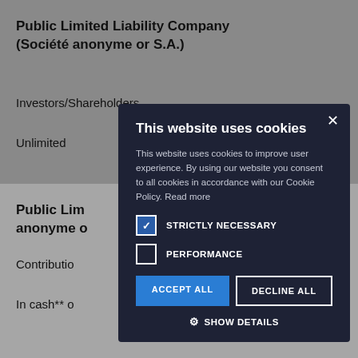Public Limited Liability Company (Société anonyme or S.A.)
Investors/Shareholders
Unlimited
Public Limited Liability Company (Société anonyme or...
Contributions
In cash** or
Special Limited... commandite...
[Figure (screenshot): Cookie consent modal dialog overlay on a legal/government website. The modal has a dark navy background and contains: title 'This website uses cookies', descriptive text about cookie policy, two checkboxes (STRICTLY NECESSARY checked, PERFORMANCE unchecked), ACCEPT ALL and DECLINE ALL buttons, and a SHOW DETAILS option with gear icon. A close X button appears in the top right corner.]